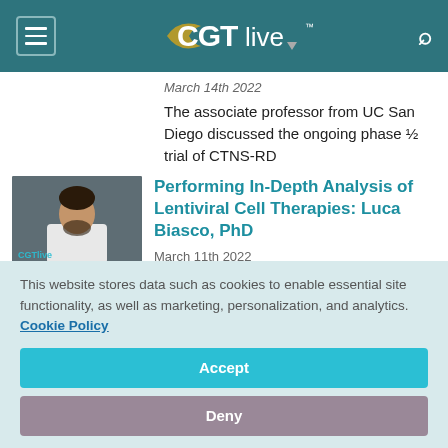CGTlive
March 14th 2022
The associate professor from UC San Diego discussed the ongoing phase ½ trial of CTNS-RD
[Figure (photo): Thumbnail photo of a man in a white shirt against a dark background, with CGTlive logo watermark]
Performing In-Depth Analysis of Lentiviral Cell Therapies: Luca Biasco, PhD
March 11th 2022
This website stores data such as cookies to enable essential site functionality, as well as marketing, personalization, and analytics. Cookie Policy
Accept
Deny